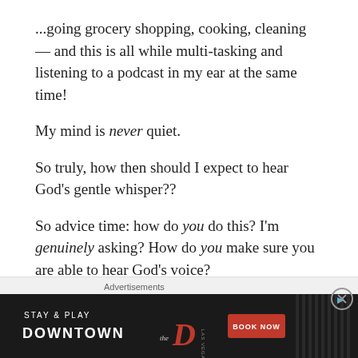...going grocery shopping, cooking, cleaning — and this is all while multi-tasking and listening to a podcast in my ear at the same time!
My mind is never quiet.
So truly, how then should I expect to hear God's gentle whisper??
So advice time: how do you do this? I'm genuinely asking? How do you make sure you are able to hear God's voice?
Advertisements
[Figure (other): Advertisement banner for 'Stay & Play Downtown' at The D Las Vegas casino with a Book Now button]